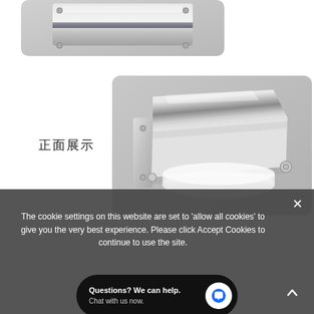[Figure (photo): Close-up photo of a stainless steel bathroom fixture component (top portion cut off), shown on light grey background, with rounded corners on the image container]
正面展示
[Figure (photo): Photo of a chrome/silver toilet paper holder with a flat cover lid, mounted hardware visible, placed on light grey background, right side of page]
The cookie settings on this website are set to 'allow all cookies' to give you the very best experience. Please click Accept Cookies to continue to use the site.
Questions? We can help.
Chat with us now.